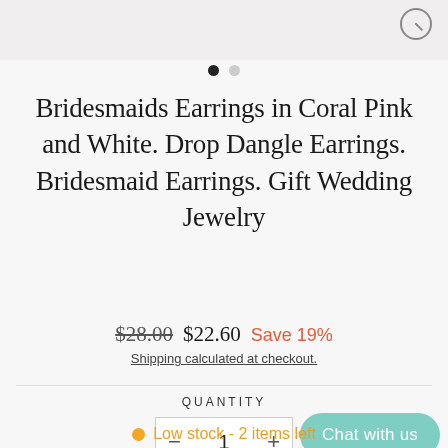[Figure (photo): Top portion of a product image with light grey background and a search (magnifying glass) icon in the top right corner]
Bridesmaids Earrings in Coral Pink and White. Drop Dangle Earrings. Bridesmaid Earrings. Gift Wedding Jewelry
$28.00  $22.60  Save 19%
Shipping calculated at checkout.
QUANTITY
− 1 +
Chat with us
Low stock - 2 items left